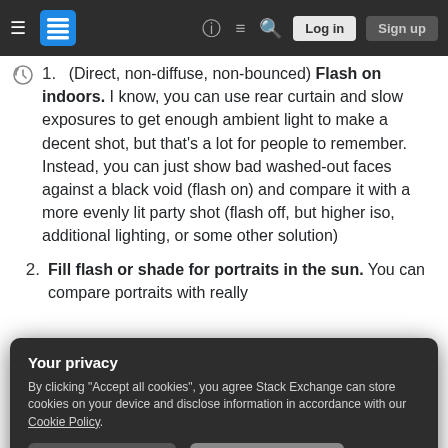Stack Exchange navigation bar with hamburger menu, logo, help, chat, search icons, Log in and Sign up buttons
(Direct, non-diffuse, non-bounced) Flash on indoors. I know, you can use rear curtain and slow exposures to get enough ambient light to make a decent shot, but that's a lot for people to remember. Instead, you can just show bad washed-out faces against a black void (flash on) and compare it with a more evenly lit party shot (flash off, but higher iso, additional lighting, or some other solution)
Fill flash or shade for portraits in the sun. You can compare portraits with really
Your privacy
By clicking "Accept all cookies", you agree Stack Exchange can store cookies on your device and disclose information in accordance with our Cookie Policy.
Accept all cookies   Customize settings
software, but how your camera's sensor can't